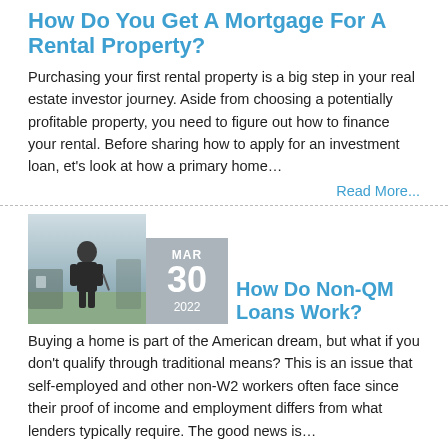How Do You Get A Mortgage For A Rental Property?
Purchasing your first rental property is a big step in your real estate investor journey. Aside from choosing a potentially profitable property, you need to figure out how to finance your rental. Before sharing how to apply for an investment loan, et's look at how a primary home…
Read More...
[Figure (photo): Man sitting outdoors, wearing dark clothing, with trees and structures in background]
MAR 30 2022
How Do Non-QM Loans Work?
Buying a home is part of the American dream, but what if you don't qualify through traditional means? This is an issue that self-employed and other non-W2 workers often face since their proof of income and employment differs from what lenders typically require. The good news is…
Read More...